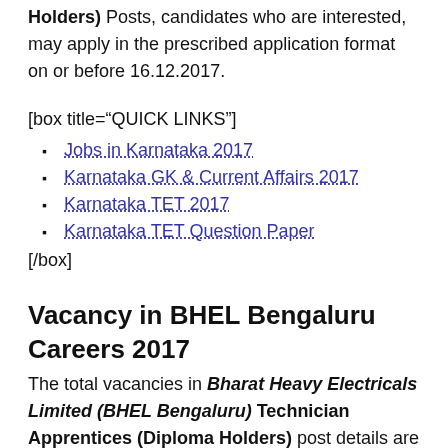Holders) Posts, candidates who are interested, may apply in the prescribed application format on or before 16.12.2017.
[box title="QUICK LINKS"]
Jobs in Karnataka 2017
Karnataka GK & Current Affairs 2017
Karnataka TET 2017
Karnataka TET Question Paper
[/box]
Vacancy in BHEL Bengaluru Careers 2017
The total vacancies in Bharat Heavy Electricals Limited (BHEL Bengaluru) Technician Apprentices (Diploma Holders) post details are given below.